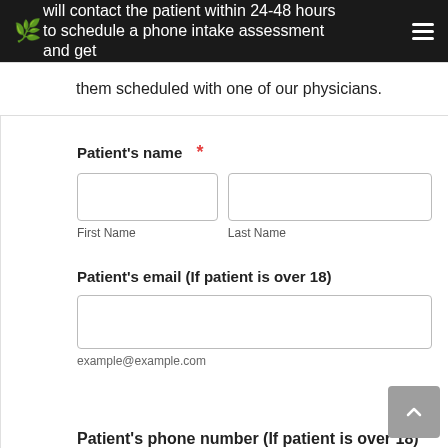will contact the patient within 24-48 hours to schedule a phone intake assessment and get them scheduled with one of our physicians.
them scheduled with one of our physicians.
Patient's name *
First Name
Last Name
Patient's email (If patient is over 18)
example@example.com
Patient's phone number (If patient is over 18)